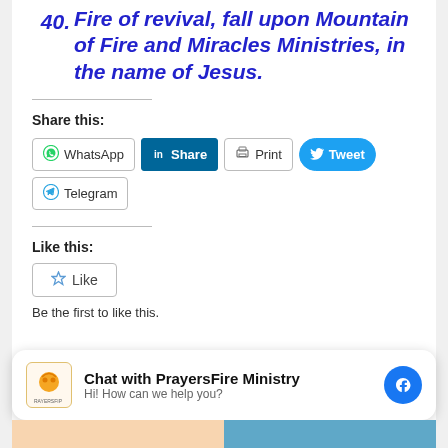40. Fire of revival, fall upon Mountain of Fire and Miracles Ministries, in the name of Jesus.
Share this:
[Figure (screenshot): Social share buttons: WhatsApp, LinkedIn Share, Print, Tweet, Telegram]
Like this:
[Figure (screenshot): Like button widget]
Be the first to like this.
[Figure (screenshot): Chat with PrayersFire Ministry widget - Hi! How can we help you?]